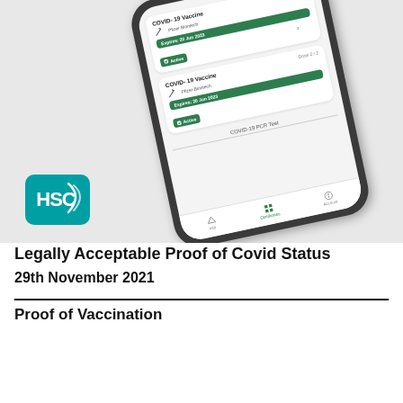[Figure (screenshot): Smartphone mockup showing a COVID-19 vaccination status app with two COVID-19 Vaccine cards (Pfizer BioNTech Dose 1/2 and Dose 2/2) both showing Active status with green bars, and a bottom navigation bar. HSC logo (teal rounded rectangle) in the lower left of the hero area.]
Legally Acceptable Proof of Covid Status
29th November 2021
Proof of Vaccination